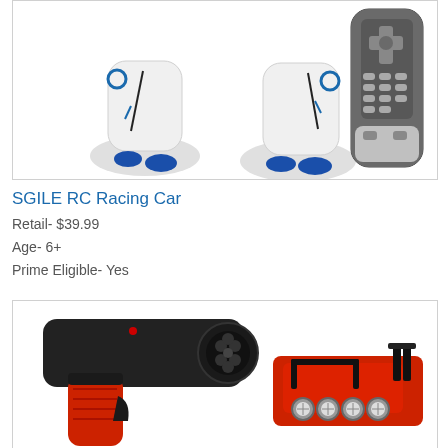[Figure (photo): Photo of a white robot toy with blue accents and a gray remote control with multiple buttons]
SGILE RC Racing Car
Retail- $39.99
Age- 6+
Prime Eligible- Yes
[Figure (photo): Photo of a black and red RC racing car radio controller (pistol grip style) alongside the top of a red RC car with spotlights and a spoiler]